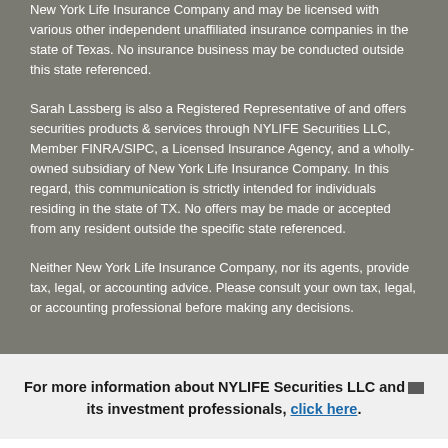New York Life Insurance Company and may be licensed with various other independent unaffiliated insurance companies in the state of Texas. No insurance business may be conducted outside this state referenced.
Sarah Lassberg is also a Registered Representative of and offers securities products & services through NYLIFE Securities LLC, Member FINRA/SIPC, a Licensed Insurance Agency, and a wholly-owned subsidiary of New York Life Insurance Company. In this regard, this communication is strictly intended for individuals residing in the state of TX. No offers may be made or accepted from any resident outside the specific state referenced.
Neither New York Life Insurance Company, nor its agents, provide tax, legal, or accounting advice. Please consult your own tax, legal, or accounting professional before making any decisions.
For more information about NYLIFE Securities LLC and its investment professionals, click here.